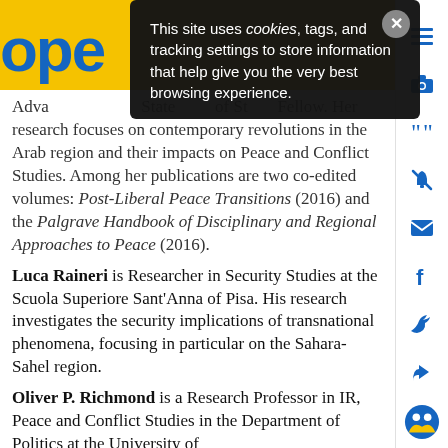[Figure (screenshot): Website header with yellow background showing partial 'ope' logo in blue, with right sidebar showing social/share icons in blue]
This site uses cookies, tags, and tracking settings to store information that help give you the very best browsing experience.
Fellow. Her research focuses on contemporary revolutions in the Arab region and their impacts on Peace and Conflict Studies. Among her publications are two co-edited volumes: Post-Liberal Peace Transitions (2016) and the Palgrave Handbook of Disciplinary and Regional Approaches to Peace (2016).
Luca Raineri is Researcher in Security Studies at the Scuola Superiore Sant'Anna of Pisa. His research investigates the security implications of transnational phenomena, focusing in particular on the Sahara-Sahel region.
Oliver P. Richmond is a Research Professor in IR, Peace and Conflict Studies in the Department of Politics at the University of